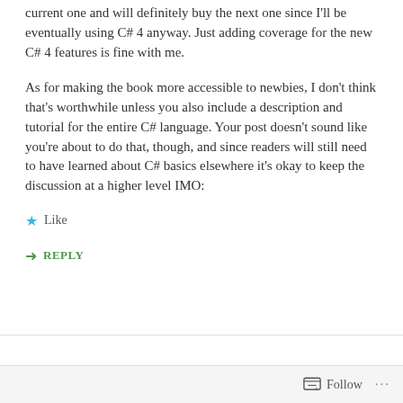current one and will definitely buy the next one since I'll be eventually using C# 4 anyway. Just adding coverage for the new C# 4 features is fine with me.
As for making the book more accessible to newbies, I don't think that's worthwhile unless you also include a description and tutorial for the entire C# language. Your post doesn't sound like you're about to do that, though, and since readers will still need to have learned about C# basics elsewhere it's okay to keep the discussion at a higher level IMO:
★ Like
↪ REPLY
Follow ···